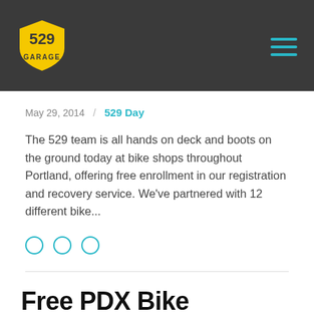529 Garage
May 29, 2014 / 529 Day
The 529 team is all hands on deck and boots on the ground today at bike shops throughout Portland, offering free enrollment in our registration and recovery service. We've partnered with 12 different bike...
Free PDX Bike Registration Day at Portland Bike Shops on 5/29